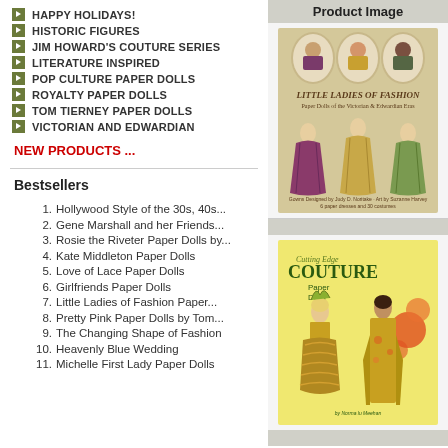HAPPY HOLIDAYS!
HISTORIC FIGURES
JIM HOWARD'S COUTURE SERIES
LITERATURE INSPIRED
POP CULTURE PAPER DOLLS
ROYALTY PAPER DOLLS
TOM TIERNEY PAPER DOLLS
VICTORIAN AND EDWARDIAN
NEW PRODUCTS ...
Bestsellers
1. Hollywood Style of the 30s, 40s...
2. Gene Marshall and her Friends...
3. Rosie the Riveter Paper Dolls by...
4. Kate Middleton Paper Dolls
5. Love of Lace Paper Dolls
6. Girlfriends Paper Dolls
7. Little Ladies of Fashion Paper...
8. Pretty Pink Paper Dolls by Tom...
9. The Changing Shape of Fashion
10. Heavenly Blue Wedding
11. Michelle First Lady Paper Dolls
Product Image
[Figure (illustration): Little Ladies of Fashion paper dolls book cover showing Victorian and Edwardian era paper dolls]
[Figure (illustration): Cutting Edge Couture Paper Dolls book cover showing fashion paper dolls in green outfits]